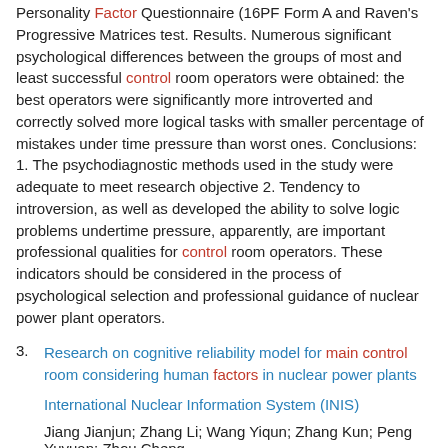Personality Factor Questionnaire (16PF Form A and Raven's Progressive Matrices test. Results. Numerous significant psychological differences between the groups of most and least successful control room operators were obtained: the best operators were significantly more introverted and correctly solved more logical tasks with smaller percentage of mistakes under time pressure than worst ones. Conclusions: 1. The psychodiagnostic methods used in the study were adequate to meet research objective 2. Tendency to introversion, as well as developed the ability to solve logic problems undertime pressure, apparently, are important professional qualities for control room operators. These indicators should be considered in the process of psychological selection and professional guidance of nuclear power plant operators.
3. Research on cognitive reliability model for main control room considering human factors in nuclear power plants
International Nuclear Information System (INIS)
Jiang Jianjun; Zhang Li; Wang Yiqun; Zhang Kun; Peng Yuyuan; Zhou Cheng
2012-01-01